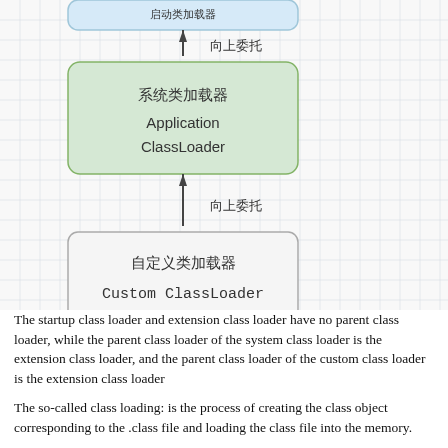[Figure (flowchart): Class loader hierarchy diagram showing Application ClassLoader (系统类加载器) and Custom ClassLoader (自定义类加载器) with upward delegation arrows labeled 向上委托. A partial box at top is cut off. Grid background.]
The startup class loader and extension class loader have no parent class loader, while the parent class loader of the system class loader is the extension class loader, and the parent class loader of the custom class loader is the extension class loader
The so-called class loading: is the process of creating the class object corresponding to the .class file and loading the class file into the memory.
The class loading process is divided into the...